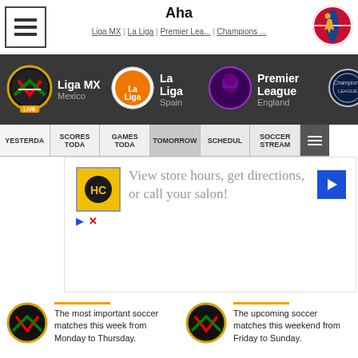Aha
Liga MX | La Liga | Premier Lea... | Champions ...
[Figure (logo): NBA logo icon top right]
[Figure (infographic): League navigation bar with Liga MX (Mexico, LIVE), La Liga (Spain), Premier League (England), Champions League logos]
YESTERDAY | SCORES TODA | GAMES TODA | TOMORROW | SCHEDUL | SOCCER STREAM
[Figure (screenshot): Advertisement: HC logo, View store hours, get directions, or call your salon! with navigation arrow icon]
The most important soccer matches this week from Monday to Thursday.
The upcoming soccer matches this weekend from Friday to Sunday.
Aha Free: Everything you need to know
[Figure (screenshot): CVS advertisement: Get Back To Routine With CVS® CVS pharmacy logo]
[Figure (infographic): Bottom clubs bar with Barcelona (SU), Real Madrid (SA), Bayern Munich (SU), PSG (SU), Ajax (SU), Borussia Dortmund (SA), Juventus, AC Milan (SU), AS Roma (SU)]